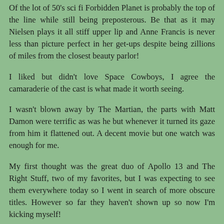Of the lot of 50's sci fi Forbidden Planet is probably the top of the line while still being preposterous. Be that as it may Nielsen plays it all stiff upper lip and Anne Francis is never less than picture perfect in her get-ups despite being zillions of miles from the closest beauty parlor!
I liked but didn't love Space Cowboys, I agree the camaraderie of the cast is what made it worth seeing.
I wasn't blown away by The Martian, the parts with Matt Damon were terrific as was he but whenever it turned its gaze from him it flattened out. A decent movie but one watch was enough for me.
My first thought was the great duo of Apollo 13 and The Right Stuff, two of my favorites, but I was expecting to see them everywhere today so I went in search of more obscure titles. However so far they haven't shown up so now I'm kicking myself!
Capricorn One (1977)-While awaiting the launch of the first manned flight to Mars the command center realizes too late to abort that a malfunction in the support system will kill the